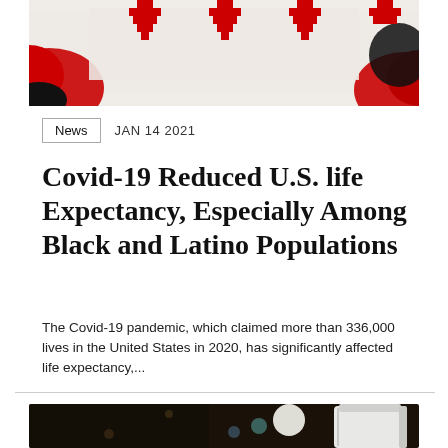[Figure (photo): Abstract red, black, and white textile or decorative art with heart-like pixel shapes on white background with red and black splashes]
News   JAN 14 2021
Covid-19 Reduced U.S. life Expectancy, Especially Among Black and Latino Populations
The Covid-19 pandemic, which claimed more than 336,000 lives in the United States in 2020, has significantly affected life expectancy,...
[Figure (photo): Dark blurred background with a white paper cup on the right side and light bokeh circles]